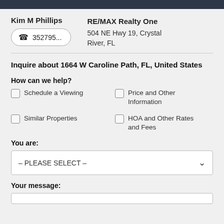Kim M Phillips
RE/MAX Realty One
☎ 352795...
504 NE Hwy 19, Crystal River, FL
Inquire about 1664 W Caroline Path, FL, United States
How can we help?
Schedule a Viewing
Price and Other Information
Similar Properties
HOA and Other Rates and Fees
You are:
– PLEASE SELECT –
Your message: